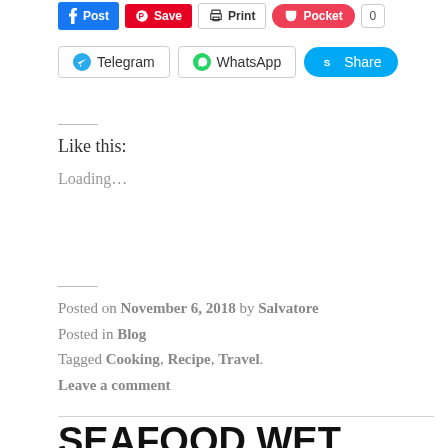[Figure (screenshot): Social share buttons row 1: Post (Facebook), Save (Pinterest), Print, Pocket with count 0]
[Figure (screenshot): Social share buttons row 2: Telegram, WhatsApp, Share (Skype)]
Like this:
Loading...
Posted on November 6, 2018 by Salvatore
Posted in Blog
Tagged Cooking, Recipe, Travel.
Leave a comment
SEAFOOD WET MARKET & SEASIDE RESTAURANTS IN MANILA